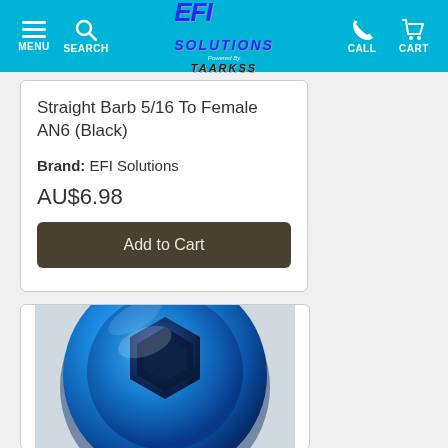MENU | SEARCH | EFI SOLUTIONS Powered by TAARKSS | CALL | CART
Straight Barb 5/16 To Female AN6 (Black)
Brand: EFI Solutions
AU$6.98
Add to Cart
[Figure (photo): Blue anodized aluminum AN fitting plug viewed from top, showing hex socket recess and threaded body]